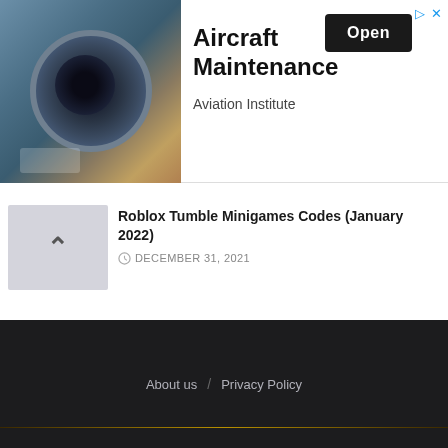[Figure (screenshot): Advertisement banner for Aircraft Maintenance from Aviation Institute with an aircraft engine photo on the left, bold title text, and an Open button]
Roblox Tumble Minigames Codes (January 2022)
DECEMBER 31, 2021
LOAD MORE
About us / Privacy Policy